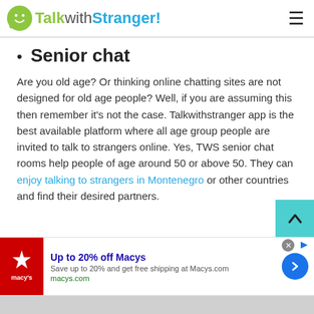TalkwithStranger!
Senior chat
Are you old age? Or thinking online chatting sites are not designed for old age people? Well, if you are assuming this then remember it's not the case. Talkwithstranger app is the best available platform where all age group people are invited to talk to strangers online. Yes, TWS senior chat rooms help people of age around 50 or above 50. They can enjoy talking to strangers in Montenegro or other countries and find their desired partners.
[Figure (screenshot): Macy's advertisement banner: Up to 20% off Macys. Save up to 20% and get free shipping at Macys.com. macys.com]